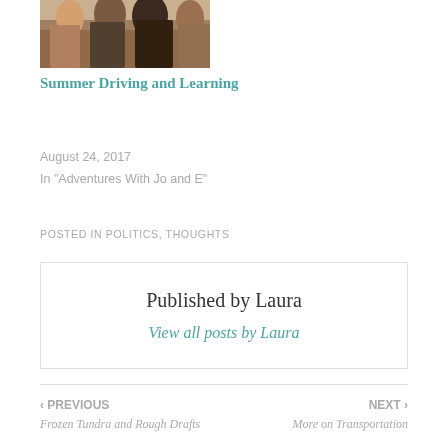[Figure (photo): Thumbnail photo showing a crowd of people from behind, outdoor setting]
Summer Driving and Learning
August 24, 2017
In "Adventures With Jo and E"
POSTED IN POLITICS, THOUGHTS
Published by Laura
View all posts by Laura
‹ PREVIOUS
Frozen Tundra and Rough Drafts
NEXT ›
More on Transportation